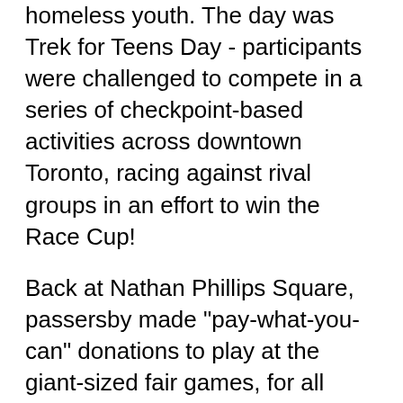homeless youth. The day was Trek for Teens Day - participants were challenged to compete in a series of checkpoint-based activities across downtown Toronto, racing against rival groups in an effort to win the Race Cup!
Back at Nathan Phillips Square, passersby made "pay-what-you-can" donations to play at the giant-sized fair games, for all ages, and to sample the foods of the truck vendors. Volunteers also canvassed the outskirts of the square, speaking to individuals and groups about the issue of youth homelessness.
Upon completion of the race, participants returned to the square for